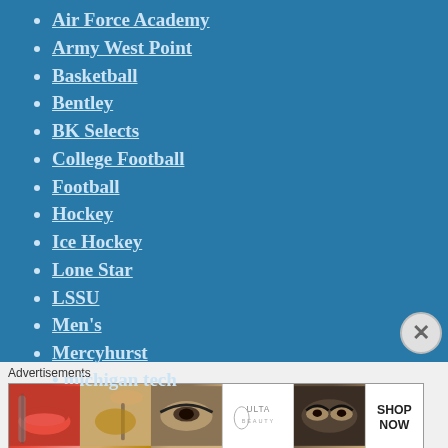Air Force Academy
Army West Point
Basketball
Bentley
BK Selects
College Football
Football
Hockey
Ice Hockey
Lone Star
LSSU
Men's
Mercyhurst
michigan tech (partially visible)
[Figure (illustration): Advertisement banner for ULTA Beauty showing cosmetics/makeup close-up photos with SHOP NOW button]
Advertisements